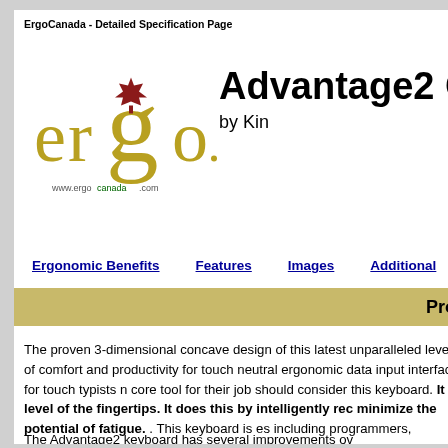ErgoCanada - Detailed Specification Page
Back
[Figure (logo): ErgoCanada logo featuring stylized 'ergo' text with a maple leaf, and www.ergocanada.com URL]
Advantage2 C
by Kin
Ergonomic Benefits    Features    Images    Additional
Pro
The proven 3-dimensional concave design of this latest unparalleled levels of comfort and productivity for touch neutral ergonomic data input interface for touch typists n core tool for their job should consider this keyboard. It is level of the fingertips. It does this by intelligently rec minimize the potential of fatigue. . This keyboard is es including programmers, transcriptionists, writers and we
The Advantage2 keyboard has several improvements ov